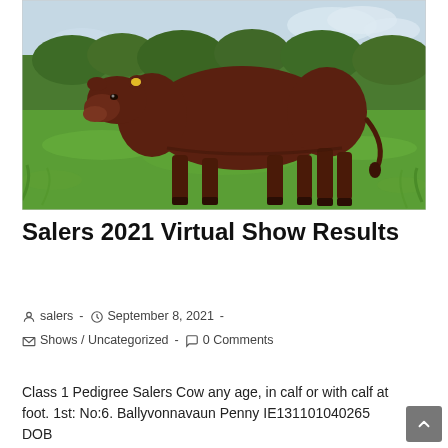[Figure (photo): A dark brown/reddish Salers cow standing on green grass with trees and sky in the background. The animal is viewed from a slight angle showing its full body profile.]
Salers 2021 Virtual Show Results
salers · September 8, 2021 · Shows / Uncategorized · 0 Comments
Class 1 Pedigree Salers Cow any age, in calf or with calf at foot. 1st: No:6. Ballyvonnavaun Penny IE131101040265 DOB